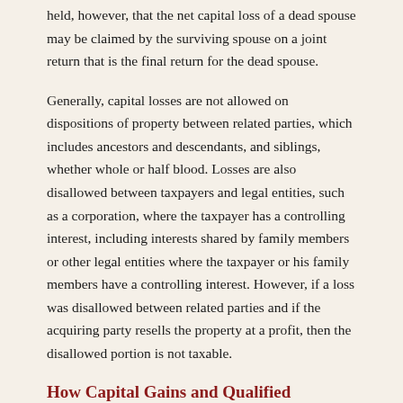held, however, that the net capital loss of a dead spouse may be claimed by the surviving spouse on a joint return that is the final return for the dead spouse.
Generally, capital losses are not allowed on dispositions of property between related parties, which includes ancestors and descendants, and siblings, whether whole or half blood. Losses are also disallowed between taxpayers and legal entities, such as a corporation, where the taxpayer has a controlling interest, including interests shared by family members or other legal entities where the taxpayer or his family members have a controlling interest. However, if a loss was disallowed between related parties and if the acquiring party resells the property at a profit, then the disallowed portion is not taxable.
How Capital Gains and Qualified Dividends Are Taxed